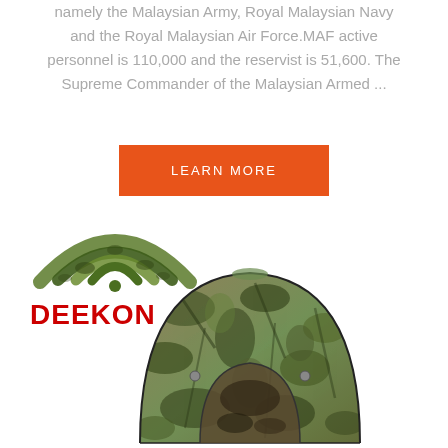namely the Malaysian Army, Royal Malaysian Navy and the Royal Malaysian Air Force.MAF active personnel is 110,000 and the reservist is 51,600. The Supreme Commander of the Malaysian Armed ...
LEARN MORE
[Figure (logo): DEEKON logo with camouflage pattern WiFi-style arc icon above bold red text DEEKON]
[Figure (photo): A camouflage-patterned pop-up tent with tree/leaf print, shown assembled with an open entry flap]